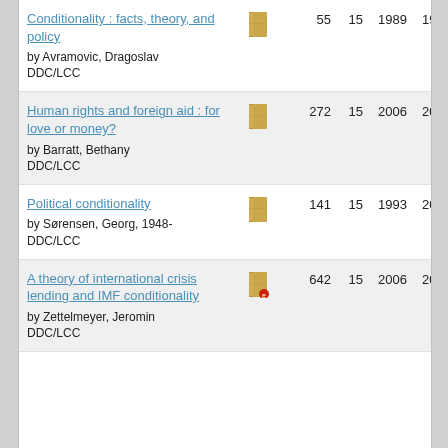Conditionality : facts, theory, and policy by Avramovic, Dragoslav DDC/LCC | 55 | 15 | 1989 | 1990
Human rights and foreign aid : for love or money? by Barratt, Bethany DDC/LCC | 272 | 15 | 2006 | 2009
Political conditionality by Sørensen, Georg, 1948- DDC/LCC | 141 | 15 | 1993 | 2016
A theory of international crisis lending and IMF conditionality by Zettelmeyer, Jeromin DDC/LCC | 642 | 15 | 2006 | 2014